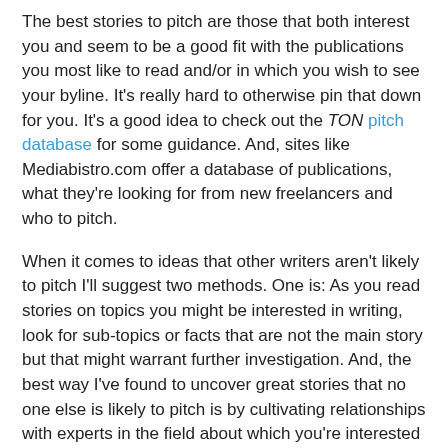The best stories to pitch are those that both interest you and seem to be a good fit with the publications you most like to read and/or in which you wish to see your byline. It's really hard to otherwise pin that down for you. It's a good idea to check out the TON pitch database for some guidance. And, sites like Mediabistro.com offer a database of publications, what they're looking for from new freelancers and who to pitch.
When it comes to ideas that other writers aren't likely to pitch I'll suggest two methods. One is: As you read stories on topics you might be interested in writing, look for sub-topics or facts that are not the main story but that might warrant further investigation. And, the best way I've found to uncover great stories that no one else is likely to pitch is by cultivating relationships with experts in the field about which you're interested in writing. They'll have information and be on top of trends that you aren't likely to find elsewhere.